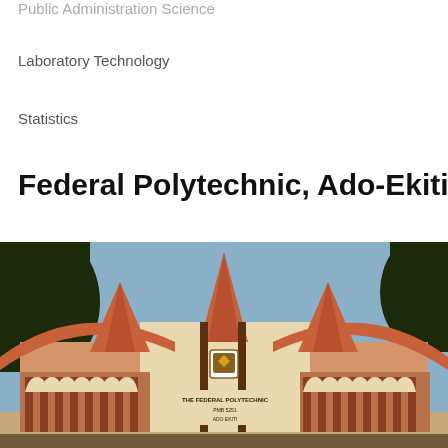Public Administration Science
Laboratory Technology
Statistics
Federal Polytechnic, Ado-Ekiti
[Figure (photo): Photograph of the Federal Polytechnic Ado-Ekiti main entrance gate building, a distinctive terracotta-colored structure with curved rooflines. A sign reads 'THE FEDERAL POLYTECHNIC PMB 5351 ADO EKITI' with an institutional crest above it.]